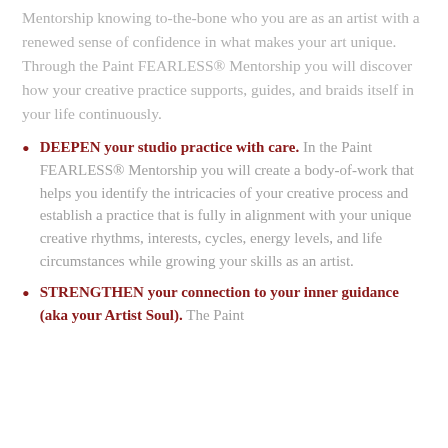Mentorship knowing to-the-bone who you are as an artist with a renewed sense of confidence in what makes your art unique. Through the Paint FEARLESS® Mentorship you will discover how your creative practice supports, guides, and braids itself in your life continuously.
DEEPEN your studio practice with care. In the Paint FEARLESS® Mentorship you will create a body-of-work that helps you identify the intricacies of your creative process and establish a practice that is fully in alignment with your unique creative rhythms, interests, cycles, energy levels, and life circumstances while growing your skills as an artist.
STRENGTHEN your connection to your inner guidance (aka your Artist Soul). The Paint